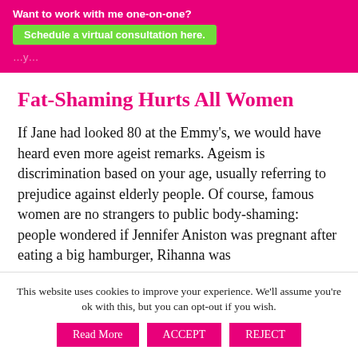Want to work with me one-on-one? Schedule a virtual consultation here.
Fat-Shaming Hurts All Women
If Jane had looked 80 at the Emmy's, we would have heard even more ageist remarks. Ageism is discrimination based on your age, usually referring to prejudice against elderly people. Of course, famous women are no strangers to public body-shaming: people wondered if Jennifer Aniston was pregnant after eating a big hamburger, Rihanna was
This website uses cookies to improve your experience. We'll assume you're ok with this, but you can opt-out if you wish.